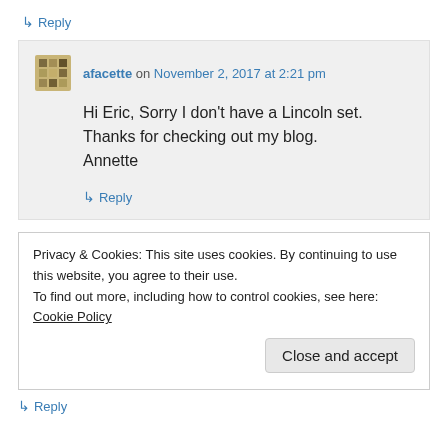↳ Reply
afacette on November 2, 2017 at 2:21 pm
Hi Eric, Sorry I don't have a Lincoln set. Thanks for checking out my blog. Annette
↳ Reply
Privacy & Cookies: This site uses cookies. By continuing to use this website, you agree to their use. To find out more, including how to control cookies, see here: Cookie Policy
Close and accept
↳ Reply